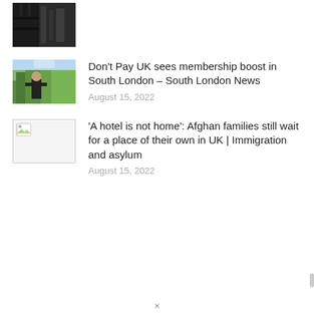[Figure (photo): Dark thumbnail photo, partially visible, showing what appears to be a building interior with dark tones]
[Figure (photo): Thumbnail photo of a person standing outdoors in front of green bushes/hedges, wearing a dark t-shirt]
Don't Pay UK sees membership boost in South London – South London News
August 15, 2022
[Figure (photo): Broken image thumbnail placeholder]
'A hotel is not home': Afghan families still wait for a place of their own in UK | Immigration and asylum
August 15, 2022